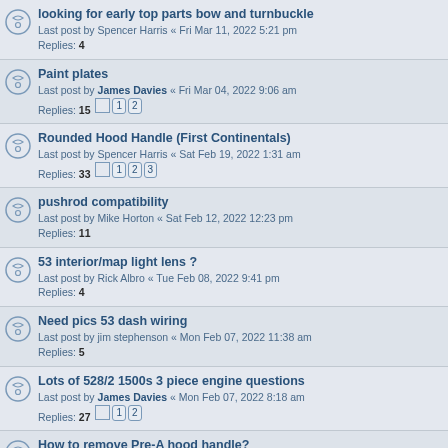looking for early top parts bow and turnbuckle
Last post by Spencer Harris « Fri Mar 11, 2022 5:21 pm
Replies: 4
Paint plates
Last post by James Davies « Fri Mar 04, 2022 9:06 am
Replies: 15 [1] [2]
Rounded Hood Handle (First Continentals)
Last post by Spencer Harris « Sat Feb 19, 2022 1:31 am
Replies: 33 [1] [2] [3]
pushrod compatibility
Last post by Mike Horton « Sat Feb 12, 2022 12:23 pm
Replies: 11
53 interior/map light lens ?
Last post by Rick Albro « Tue Feb 08, 2022 9:41 pm
Replies: 4
Need pics 53 dash wiring
Last post by jim stephenson « Mon Feb 07, 2022 11:38 am
Replies: 5
Lots of 528/2 1500s 3 piece engine questions
Last post by James Davies « Mon Feb 07, 2022 8:18 am
Replies: 27 [1] [2]
How to remove Pre-A hood handle?
Last post by Victor Ingram « Thu Feb 03, 2022 2:03 pm
Replies: 16 [1] [2]
A, pre-A Horsepower
Last post by James Davies « Tue Feb 01, 2022 10:28 am
Replies: 4